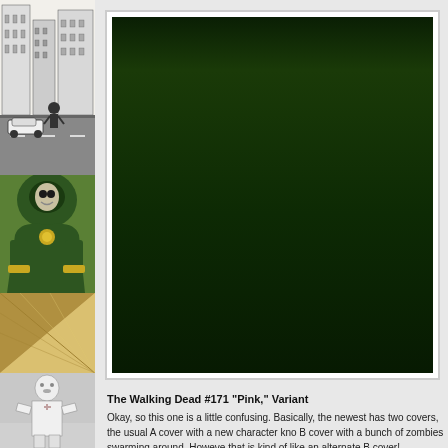[Figure (illustration): Left vertical strip showing multiple comic book/illustration panels: top panel shows black and white city/building scene with street and car, middle panel shows green hooded figure (Doctor Doom style), below that geometric abstract pattern in tan/brown tones, bottom panel shows white-suited figure character]
[Figure (photo): Photo of The Walking Dead #171 comic book cover showing 'THE WALKING DEAD' title at top, with a human figure in white shirt surrounded by dark zombies on a green-tinted background, badge logo at bottom left, pink number 6 at bottom right]
The Walking Dead #171 "Pink," Variant
Okay, so this one is a little confusing. Basically, the newest has two covers, the usual A cover with a new character kno B cover with a bunch of zombies swarming around. Howeve that is kind of like an alternate B cover! Confused? It's okay